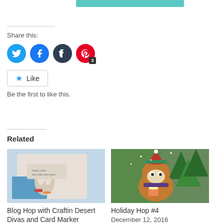[Figure (other): Teal/cyan rectangular bar at top of page]
Share this:
[Figure (other): Social sharing icons: Twitter (blue circle), Facebook (blue circle), Tumblr (dark circle), Pinterest (red circle with badge '3')]
Like
Be the first to like this.
Related
[Figure (photo): Image of a greeting card with a cartoon bunny/rabbit character, blue and snowy theme, with text on the card]
Blog Hop with Craftin Desert Divas and Card Marker
December 12, 2016
[Figure (photo): Image of a hand-painted holiday card featuring a cute Christmas fox/raccoon wearing a Santa hat and holding a mug, with pine trees in background]
Holiday Hop #4
December 12, 2016
In "artist challenge"